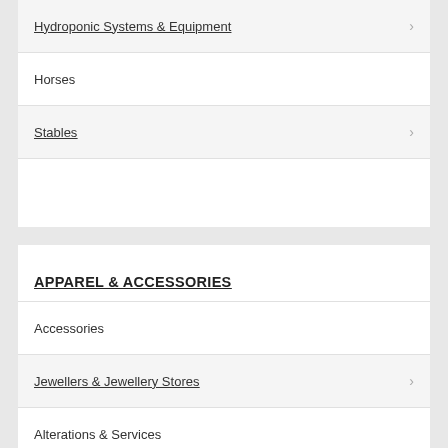Hydroponic Systems & Equipment
Horses
Stables
APPAREL & ACCESSORIES
Accessories
Jewellers & Jewellery Stores
Alterations & Services
Dry Cleaners
Clothing - General